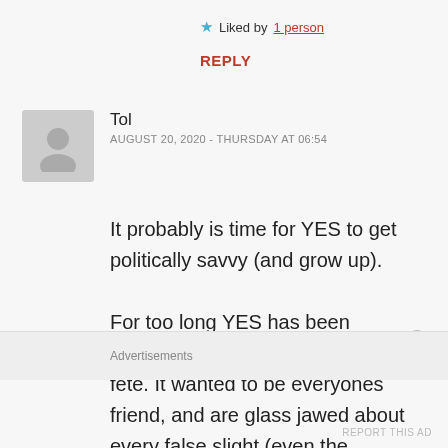★ Liked by 1 person
REPLY
[Figure (illustration): Grey placeholder avatar icon showing a silhouette of a person]
Tol
AUGUST 20, 2020 - THURSDAY AT 06:54
It probably is time for YES to get politically savvy (and grow up).

For too long YES has been playing politics like it is a church fete. It wanted to be everyones friend, and are glass jawed about every false slight (even the
Advertisements
REPORT THIS AD